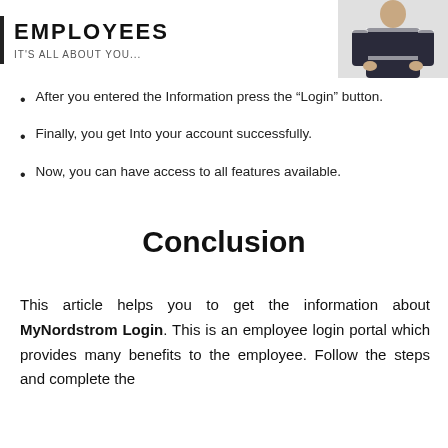[Figure (photo): Header with vertical rule, bold 'EMPLOYEES' title, subtitle 'IT'S ALL ABOUT YOU...', and a photo of a person in a black jacket with hands in pockets on the right side.]
After you entered the Information press the “Login” button.
Finally, you get Into your account successfully.
Now, you can have access to all features available.
Conclusion
This article helps you to get the information about MyNordstrom Login. This is an employee login portal which provides many benefits to the employee. Follow the steps and complete the